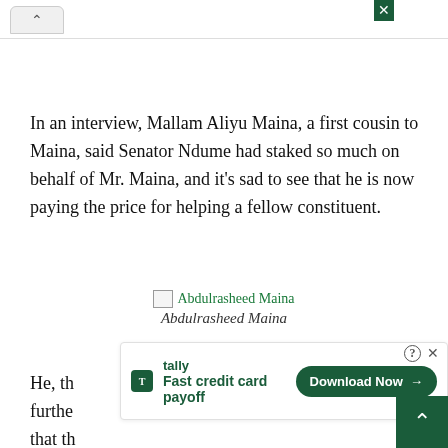^
In an interview, Mallam Aliyu Maina, a first cousin to Maina, said Senator Ndume had staked so much on behalf of Mr. Maina, and it's sad to see that he is now paying the price for helping a fellow constituent.
[Figure (photo): Broken image placeholder for Abdulrasheed Maina photo]
Abdulrasheed Maina
He, th... n, avert furthe... ble so that th...
[Figure (infographic): Tally advertisement overlay: Fast credit card payoff, Download Now button]